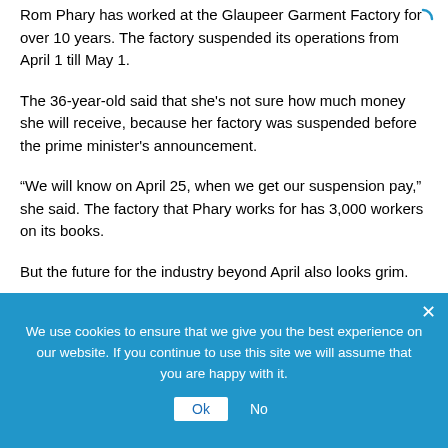Rom Phary has worked at the Glaupeer Garment Factory for over 10 years. The factory suspended its operations from April 1 till May 1.
The 36-year-old said that she's not sure how much money she will receive, because her factory was suspended before the prime minister's announcement.
“We will know on April 25, when we get our suspension pay,” she said. The factory that Phary works for has 3,000 workers on its books.
But the future for the industry beyond April also looks grim.
We use cookies to ensure that we give you the best experience on our website. If you continue to use this site we will assume that you are happy with it.
Ok   No